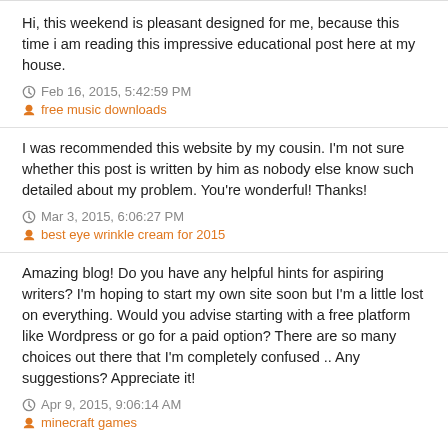Hi, this weekend is pleasant designed for me, because this time i am reading this impressive educational post here at my house.
Feb 16, 2015, 5:42:59 PM
free music downloads
I was recommended this website by my cousin. I'm not sure whether this post is written by him as nobody else know such detailed about my problem. You're wonderful! Thanks!
Mar 3, 2015, 6:06:27 PM
best eye wrinkle cream for 2015
Amazing blog! Do you have any helpful hints for aspiring writers? I'm hoping to start my own site soon but I'm a little lost on everything. Would you advise starting with a free platform like Wordpress or go for a paid option? There are so many choices out there that I'm completely confused .. Any suggestions? Appreciate it!
Apr 9, 2015, 9:06:14 AM
minecraft games